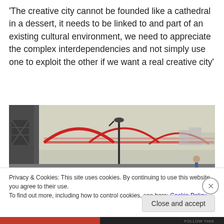'The creative city cannot be founded like a cathedral in a dessert, it needs to be linked to and part of an existing cultural environment, we need to appreciate the complex interdependencies and not simply use one to exploit the other if we want a real creative city'
[Figure (photo): Photograph taken under a bridge or overpass showing a red arched bridge (likely Blackfriars Bridge, London) in the background. Two people are visible on a riverside walkway — one bending forward with long hair, another standing upright. A vintage lamp post is visible.]
Privacy & Cookies: This site uses cookies. By continuing to use this website, you agree to their use.
To find out more, including how to control cookies, see here: Cookie Policy
Close and accept